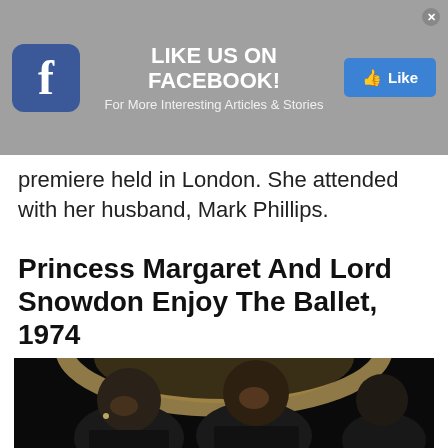[Figure (screenshot): Facebook 'Like Us on Facebook!' advertisement banner with Facebook logo icon on left, text 'LIKE US ON FACEBOOK! For More Interesting Articles & Stories' in center, and a blue Like button on the right, on a gray background.]
premiere held in London. She attended with her husband, Mark Phillips.
Princess Margaret And Lord Snowdon Enjoy The Ballet, 1974
[Figure (photo): Black and white photograph showing Princess Margaret and Lord Snowdon smiling, with another person visible in background, at what appears to be a formal event with a large circular light fixture overhead.]